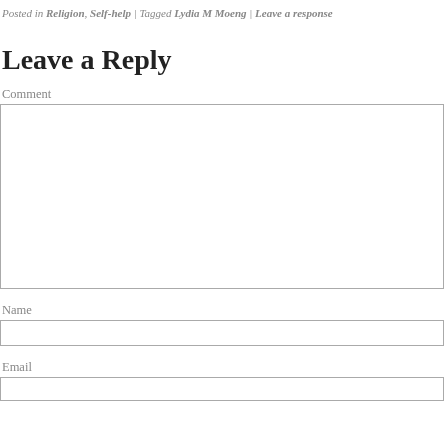Posted in Religion, Self-help | Tagged Lydia M Moeng | Leave a response
Leave a Reply
Comment
Name
Email